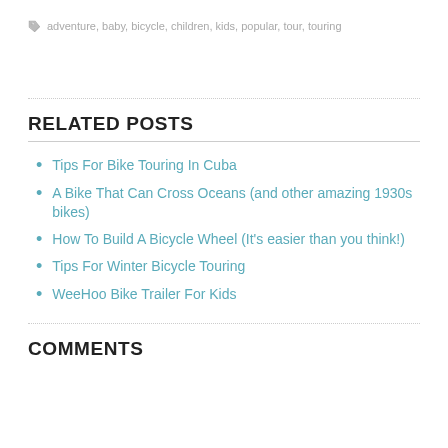adventure, baby, bicycle, children, kids, popular, tour, touring
RELATED POSTS
Tips For Bike Touring In Cuba
A Bike That Can Cross Oceans (and other amazing 1930s bikes)
How To Build A Bicycle Wheel (It's easier than you think!)
Tips For Winter Bicycle Touring
WeeHoo Bike Trailer For Kids
COMMENTS